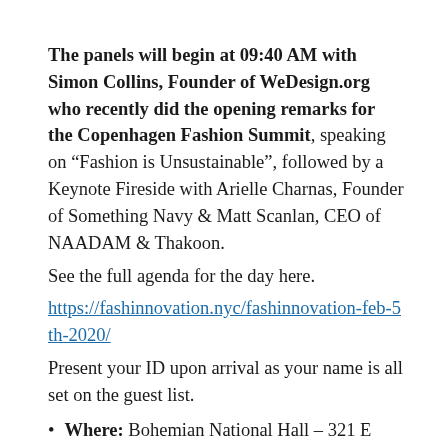The panels will begin at 09:40 AM with Simon Collins, Founder of WeDesign.org who recently did the opening remarks for the Copenhagen Fashion Summit, speaking on “Fashion is Unsustainable”, followed by a Keynote Fireside with Arielle Charnas, Founder of Something Navy & Matt Scanlan, CEO of NAADAM & Thakoon.
See the full agenda for the day here.
https://fashinnovation.nyc/fashinnovation-feb-5th-2020/
Present your ID upon arrival as your name is all set on the guest list.
Where: Bohemian National Hall – 321 E 73rd